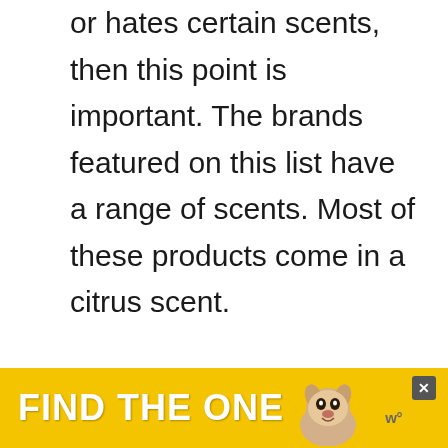or hates certain scents, then this point is important. The brands featured on this list have a range of scents. Most of these products come in a citrus scent.

But, if you're looking for a slightly different scent, why not go for almond? The Method Daily Cleaner is a great option if you're looking for a b...
[Figure (infographic): Yellow advertisement banner at the bottom of the page with bold white text 'FIND THE ONE' and a dog image, with a close button and WR logo.]